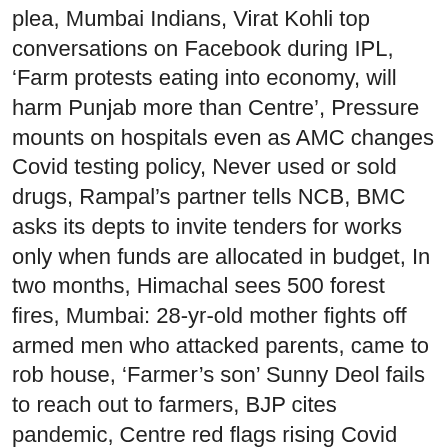plea, Mumbai Indians, Virat Kohli top conversations on Facebook during IPL, 'Farm protests eating into economy, will harm Punjab more than Centre', Pressure mounts on hospitals even as AMC changes Covid testing policy, Never used or sold drugs, Rampal's partner tells NCB, BMC asks its depts to invite tenders for works only when funds are allocated in budget, In two months, Himachal sees 500 forest fires, Mumbai: 28-yr-old mother fights off armed men who attacked parents, came to rob house, 'Farmer's son' Sunny Deol fails to reach out to farmers, BJP cites pandemic, Centre red flags rising Covid deaths in Punjab, wants govt to set up death review panels, Army nod to Uttarakhand non-Gorkhas in Gorkha Rifles, Ramnath Goenka Excellence in Journalism Awards, Statutory provisions on reporting (sexual offenses), This website follows the DNPA's code of conduct. Here are two ways to tell the difference: Military retirement is taxable but a VA pension is tax-free. While retirement travel often makes people think of far off destinations, many veterans want to see more of their own country with 44 percent planning to only travel domestically.  DoD Forms    Department of State    Civilian Personnel Mgmt Service    DTS Travel Center    System for Award Mgmt (SAM)  We asked about their financial preparedness for retirement, what fears they have about retirement, their opinions on senior living options,